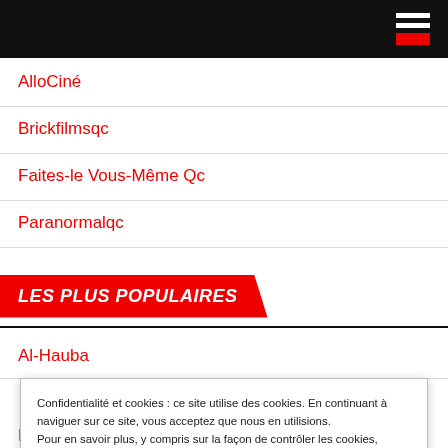[Figure (other): Black top navigation bar with hamburger menu icon (three white lines with red bottom bar) in the top-right corner]
AlloCiné
Brickfilmsqc
Faites-le Vous-Même Qc
Paranormalqc
LES PLUS POPULAIRES
Al-Hauba
Confidentialité et cookies : ce site utilise des cookies. En continuant à naviguer sur ce site, vous acceptez que nous en utilisions. Pour en savoir plus, y compris sur la façon de contrôler les cookies, reportez-vous à ce qui suit : Politique relative aux cookies
Le Jeu du Calamar